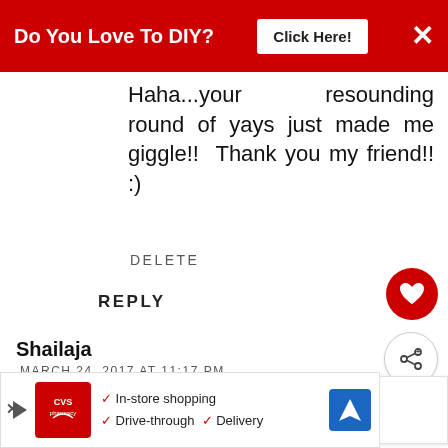[Figure (screenshot): Red advertisement banner at top: 'Do You Love To DIY?' with 'Click Here!' button and X close button]
Haha...your resounding round of yays just made me giggle!! Thank you my friend!! :)
DELETE
REPLY
Shailaja
MARCH 24, 2017 AT 11:17 PM
Yes, I *had* to smile reading (rather, your husband's) wonderfully successful efforts. People are dying
[Figure (screenshot): WHAT'S NEXT panel: The Easiest Way To Rep...]
[Figure (screenshot): CVS Pharmacy ad: In-store shopping, Drive-through, Delivery]